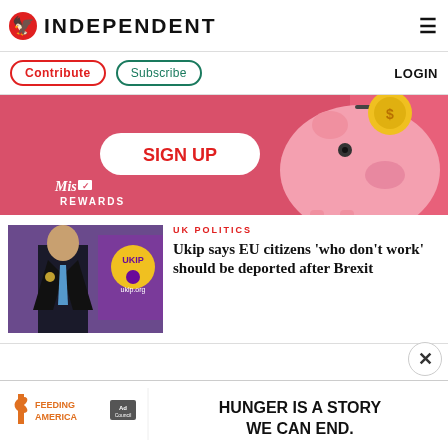INDEPENDENT
Contribute  Subscribe  LOGIN
[Figure (illustration): Advertisement banner: pink background with piggy bank illustration and 'SIGN UP' button, 'Mis[logo] REWARDS' branding]
UK POLITICS
[Figure (photo): Man in dark suit standing in front of UKIP banner with UKIP logo and ukip.org text]
Ukip says EU citizens 'who don't work' should be deported after Brexit
[Figure (illustration): Advertisement: Feeding America Ad Council - HUNGER IS A STORY WE CAN END.]